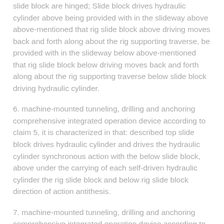slide block are hinged; Slide block drives hydraulic cylinder above being provided with in the slideway above above-mentioned that rig slide block above driving moves back and forth along about the rig supporting traverse, be provided with in the slideway below above-mentioned that rig slide block below driving moves back and forth along about the rig supporting traverse below slide block driving hydraulic cylinder.
6. machine-mounted tunneling, drilling and anchoring comprehensive integrated operation device according to claim 5, it is characterized in that: described top slide block drives hydraulic cylinder and drives the hydraulic cylinder synchronous action with the below slide block, above under the carrying of each self-driven hydraulic cylinder the rig slide block and below rig slide block direction of action antithesis.
7. machine-mounted tunneling, drilling and anchoring comprehensive integrated operation device according to claim 1, it is characterized in that: described left side telescopic arm is provided with a left arm telescopic hydraulic cylinder, protract on the left of the cylinder part of